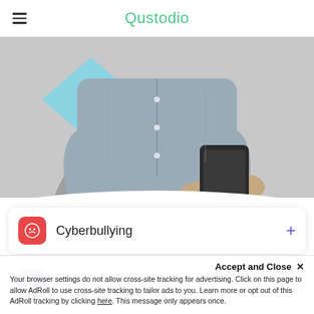Qustodio
[Figure (photo): Black and white photo of a person in a denim shirt holding a smartphone, with a light blue diamond shape in the background]
Cyberbullying
Sleep problems
Online addiction
Accept and Close ✕
Your browser settings do not allow cross-site tracking for advertising. Click on this page to allow AdRoll to use cross-site tracking to tailor ads to you. Learn more or opt out of this AdRoll tracking by clicking here. This message only appears once.